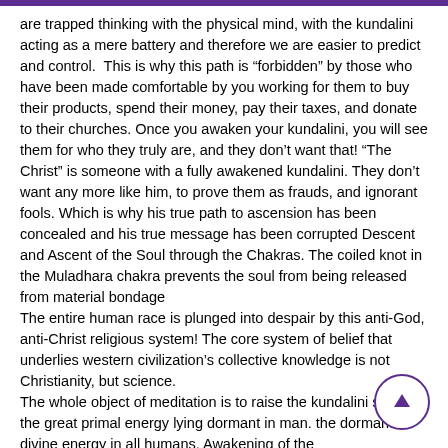are trapped thinking with the physical mind, with the kundalini acting as a mere battery and therefore we are easier to predict and control.  This is why this path is "forbidden" by those who have been made comfortable by you working for them to buy their products, spend their money, pay their taxes, and donate to their churches. Once you awaken your kundalini, you will see them for who they truly are, and they don't want that! “The Christ” is someone with a fully awakened kundalini. They don't want any more like him, to prove them as frauds, and ignorant fools. Which is why his true path to ascension has been concealed and his true message has been corrupted Descent and Ascent of the Soul through the Chakras. The coiled knot in the Muladhara chakra prevents the soul from being released from material bondage
The entire human race is plunged into despair by this anti-God, anti-Christ religious system! The core system of belief that underlies western civilization's collective knowledge is not Christianity, but science.
The whole object of meditation is to raise the kundalini spark of the great primal energy lying dormant in man. the dormant divine energy in all humans. Awakening of the